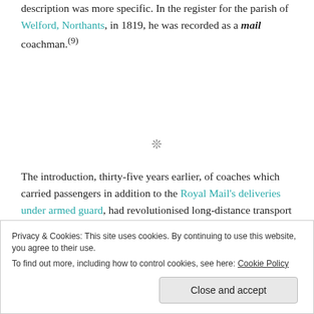description was more specific. In the register for the parish of Welford, Northants, in 1819, he was recorded as a mail coachman.(9)
❊
The introduction, thirty-five years earlier, of coaches which carried passengers in addition to the Royal Mail's deliveries under armed guard, had revolutionised long-distance transport in England. Faster, less crowded, cleaner and safer (though more expensive) than private stagecoaches, the mail coach was the first reliable
Privacy & Cookies: This site uses cookies. By continuing to use this website, you agree to their use. To find out more, including how to control cookies, see here: Cookie Policy
Close and accept
rapidly became a kind of modern folk hero.